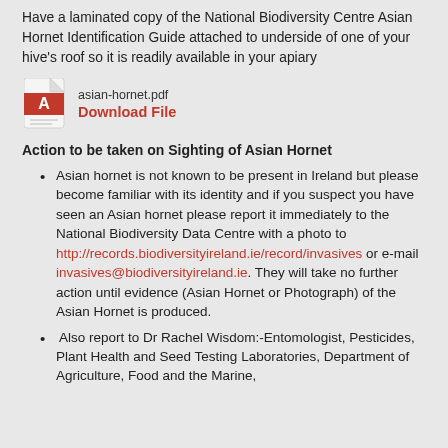Have a laminated copy of the National Biodiversity Centre Asian Hornet Identification Guide attached to underside of one of your hive's roof so it is readily available in your apiary
[Figure (other): PDF file icon (red Adobe-style icon) next to filename 'asian-hornet.pdf' and red bold 'Download File' link]
Action to be taken on Sighting of Asian Hornet
Asian hornet is not known to be present in Ireland but please become familiar with its identity and if you suspect you have seen an Asian hornet please report it immediately to the National Biodiversity Data Centre with a photo to http://records.biodiversityireland.ie/record/invasives or e-mail invasives@biodiversityireland.ie. They will take no further action until evidence (Asian Hornet or Photograph) of the Asian Hornet is produced.
Also report to Dr Rachel Wisdom:-Entomologist, Pesticides, Plant Health and Seed Testing Laboratories, Department of Agriculture, Food and the Marine,